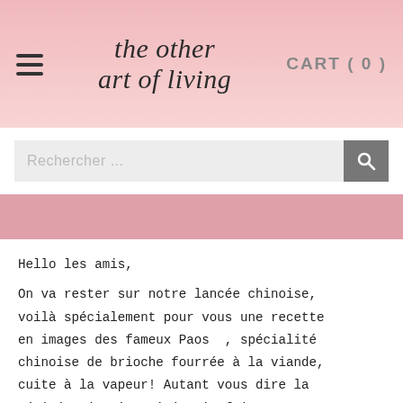the other art of living | CART (0)
[Figure (screenshot): Search bar with magnifying glass icon on white background]
[Figure (other): Pink decorative banner bar]
Hello les amis,
On va rester sur notre lancée chinoise, voilà spécialement pour vous une recette en images des fameux Paos  , spécialité chinoise de brioche fourrée à la viande, cuite à la vapeur! Autant vous dire la vérité : je n'en ai jamais fait toute seule, et là je ne fais que...